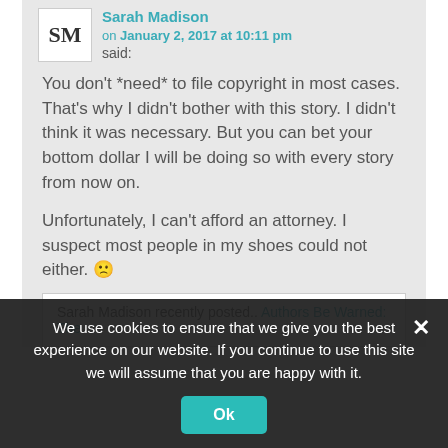Sarah Madison
on January 2, 2017 at 10:11 pm
said:
You don't *need* to file copyright in most cases. That's why I didn't bother with this story. I didn't think it was necessary. But you can bet your bottom dollar I will be doing so with every story from now on.
Unfortunately, I can't afford an attorney. I suspect most people in my shoes could not either. 🙁
Sarah Madison recently posted.. Authors Be Warned: The
We use cookies to ensure that we give you the best experience on our website. If you continue to use this site we will assume that you are happy with it.